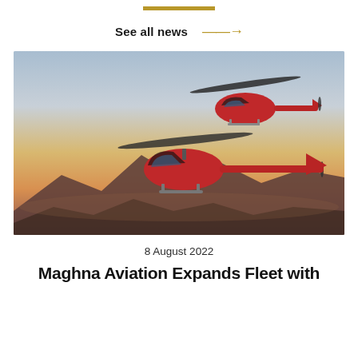[Figure (other): Gold horizontal decorative bar divider]
See all news →
[Figure (photo): Two red helicopters flying in formation over a mountainous landscape at sunset/dusk with warm orange sky]
8 August 2022
Maghna Aviation Expands Fleet with